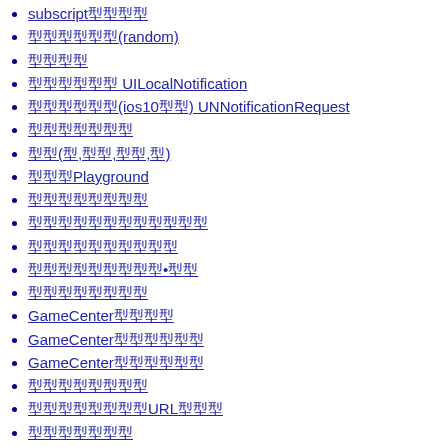subscript型型型型
型型型型型型(random)
型型型型
型型型型型型 UILocalNotification
型型型型型型(ios10型型) UNNotificationRequest
型型型型型型型
型型(型,型型,型型,型)
型型型Playground
型型型型型型型型
型型型型型型型型型型型型
型型型型型型型型型型
型型型型型型型型型•型型
型型型型型型型型
GameCenter型型型型
GameCenter型型型型型型
GameCenter型型型型型型
型型型型型型型型
型型型型型型型型URL型型型
型型型型型型型
Objective-C型型型型型
型型型型型型型型型型型型
lazy型型型型型型
3D(#1):型型
3D(#2):型型
3D(#3):SceneKit型型型